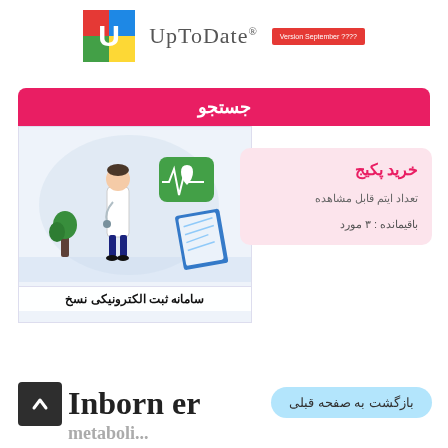[Figure (logo): UpToDate logo with colorful U letter and version badge reading 'Version September ????']
جستجو
[Figure (illustration): Medical illustration showing a doctor in white coat next to a heart rate monitor icon, a plant, and a document. Persian text below reads: سامانه ثبت الکترونیکی نسخ]
خرید پکیج
تعداد ایتم قابل مشاهده
باقیمانده : ۳ مورد
Inborn er
بازگشت به صفحه قبلی